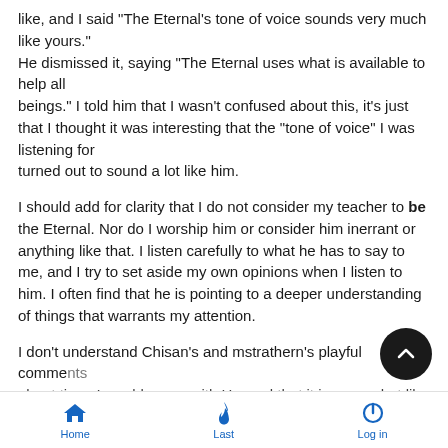like, and I said "The Eternal's tone of voice sounds very much like yours."
He dismissed it, saying "The Eternal uses what is available to help all
beings." I told him that I wasn't confused about this, it's just that I thought it was interesting that the "tone of voice" I was listening for
turned out to sound a lot like him.
I should add for clarity that I do not consider my teacher to be the Eternal. Nor do I worship him or consider him inerrant or anything like that. I listen carefully to what he has to say to me, and I try to set aside my own opinions when I listen to him. I often find that he is pointing to a deeper understanding of things that warrants my attention.
I don't understand Chisan's and mstrathern's playful comments about time. I would agree with Howard that it is somewhat like
Home   Last   Log in